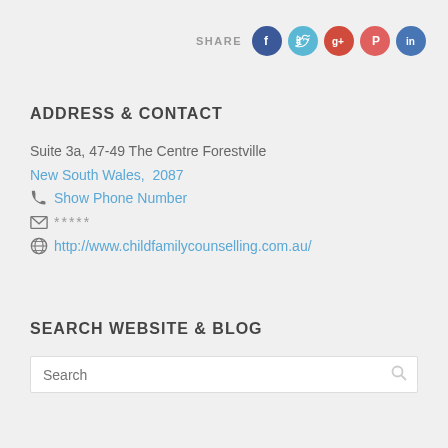[Figure (infographic): Social share icons row: SHARE label followed by Facebook, Twitter, Google+, Pinterest, LinkedIn circular icons]
ADDRESS & CONTACT
Suite 3a, 47-49 The Centre Forestville
New South Wales, 2087
Show Phone Number
*****
http://www.childfamilycounselling.com.au/
SEARCH WEBSITE & BLOG
Search